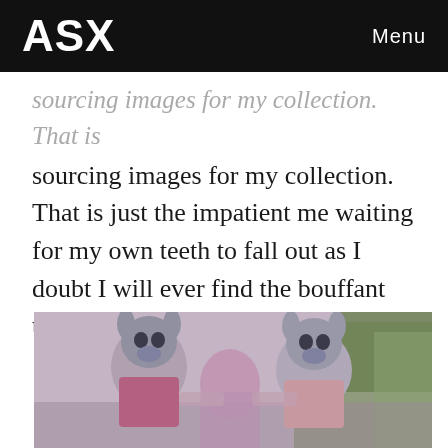ASX  Menu
sourcing images for my collection. That is just the impatient me waiting for my own teeth to fall out as I doubt I will ever find the bouffant that defines me.
[Figure (photo): Vintage photograph of two figures wearing pig/alien mask costumes outdoors in a garden or yard setting, with green trees/bushes in the background. The image has a faded, aged color tone.]